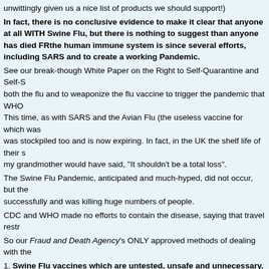unwittingly given us a nice list of products we should support!)
In fact, there is no conclusive evidence to make it clear that anyone at all died WITH Swine Flu, but there is nothing to suggest than anyone has died FR the human immune system is since several efforts, including SARS and to create a working Pandemic.
See our break-though White Paper on the Right to Self-Quarantine and Self-S both the flu and to weaponize the flu vaccine to trigger the pandemic that WHO This time, as with SARS and the Avian Flu (the useless vaccine for which was was stockpiled too and is now expiring. In fact, in the UK the shelf life of their s my grandmother would have said, "It shouldn't be a total loss".
The Swine Flu Pandemic, anticipated and much-hyped, did not occur, but the successfully and was killing huge numbers of people.
CDC and WHO made no efforts to contain the disease, saying that travel restr
So our Fraud and Death Agency's ONLY approved methods of dealing with the
1. Swine Flu vaccines which are untested, unsafe and unnecessary. They contain squalene, a deadly adjuvant (immune irritant) when injected. They con identify is also unknown. They are, literally, an uninsurable risk.
Yet the Secretary of Health and Human Services, FDA's parent agency, says t none, under the current Federal and State laws, by the way) and then "Sit bac does not make clear what is the number that would constitute "too many adve the World Medical Association agrees with us.
2. Tamiflu and other "FDA approved drugs. Tamiflu, whose ownership inclu